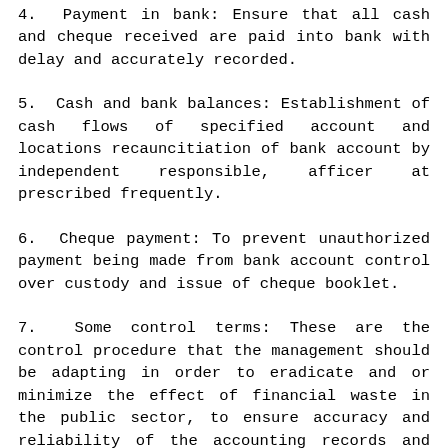4.  Payment in bank: Ensure that all cash and cheque received are paid into bank with delay and accurately recorded.
5.  Cash and bank balances: Establishment of cash flows of specified account and locations recauncitiation of bank account by independent responsible, afficer at prescribed frequently.
6.  Cheque payment: To prevent unauthorized payment being made from bank account control over custody and issue of cheque booklet.
7.  Some control terms: These are the control procedure that the management should be adapting in order to eradicate and or minimize the effect of financial waste in the public sector, to ensure accuracy and reliability of the accounting records and the promotion of